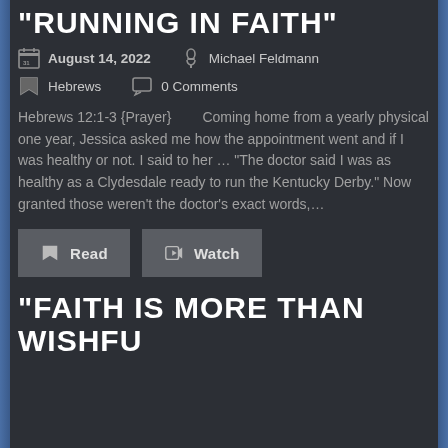“RUNNING IN FAITH”
August 14, 2022   Michael Feldmann
Hebrews   0 Comments
Hebrews 12:1-3 {Prayer}        Coming home from a yearly physical one year, Jessica asked me how the appointment went and if I was healthy or not. I said to her ... “The doctor said I was as healthy as a Clydesdale ready to run the Kentucky Derby.” Now granted those weren’t the doctor’s exact words,...
Read   Watch
“FAITH IS MORE THAN WISHFU…